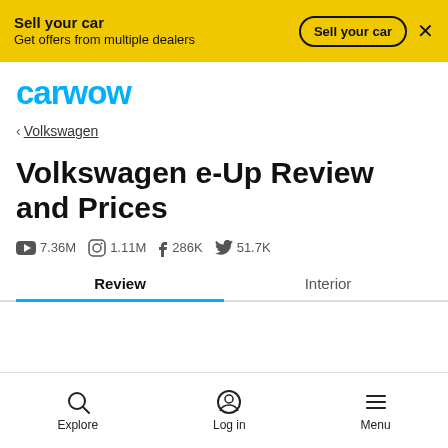Sell your car
Get offers from multiple dealers
[Figure (logo): carwow logo in blue]
< Volkswagen
Volkswagen e-Up Review and Prices
7.36M  1.11M  286K  51.7K
Review  Interior
Explore  Log in  Menu